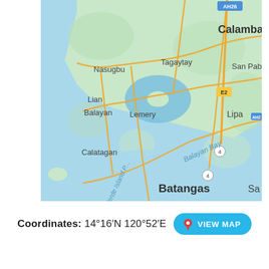[Figure (map): Google Maps view of Batangas province area in the Philippines, showing Calamba, Tagaytay, Nasugbu, Lian, Balayan, Lemery, Calatagan, Lipa, Batangas city, Balayan Bay, Verde Island Passage, and road/highway labels including AH26, E2, AH2, and route 4.]
Coordinates: 14°16′N 120°52′E  VIEW MAP